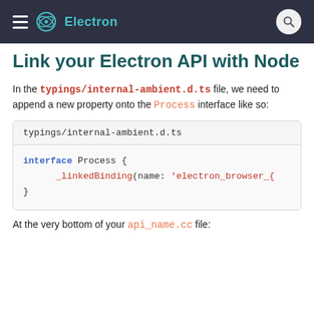Electron
Link your Electron API with Node
In the typings/internal-ambient.d.ts file, we need to append a new property onto the Process interface like so:
[Figure (screenshot): Code block showing typings/internal-ambient.d.ts filename header and TypeScript code: interface Process { _linkedBinding(name: 'electron_browser_{ }]
At the very bottom of your api_name.cc file: